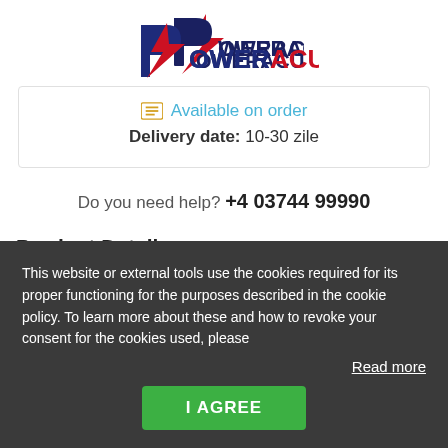[Figure (logo): PowerAcu logo with lightning bolt in red and blue, text POWERACU]
Available on order
Delivery date: 10-30 zile
Do you need help? +4 03744 99990
Product Details
Full Specifications
This website or external tools use the cookies required for its proper functioning for the purposes described in the cookie policy. To learn more about these and how to revoke your consent for the cookies used, please
Read more
I AGREE